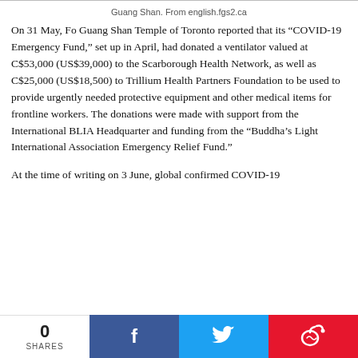Guang Shan. From english.fgs2.ca
On 31 May, Fo Guang Shan Temple of Toronto reported that its “COVID-19 Emergency Fund,” set up in April, had donated a ventilator valued at C$53,000 (US$39,000) to the Scarborough Health Network, as well as C$25,000 (US$18,500) to Trillium Health Partners Foundation to be used to provide urgently needed protective equipment and other medical items for frontline workers. The donations were made with support from the International BLIA Headquarter and funding from the “Buddha’s Light International Association Emergency Relief Fund.”
At the time of writing on 3 June, global confirmed COVID-19